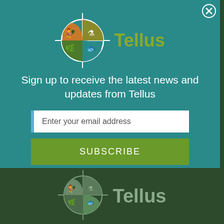[Figure (logo): Tellus logo: globe icon with four quadrants showing chicken, flask, leaf, and fish in orange, olive, green, and teal colors with crosshair lines, next to the word 'Tellus' in olive/gold text]
Sign up to receive the latest news and updates from Tellus
Enter your email address
SUBSCRIBE
No Thanks   Remind Me Later
[Figure (logo): Greyed-out Tellus logo at bottom of page on dark green background, partially visible]